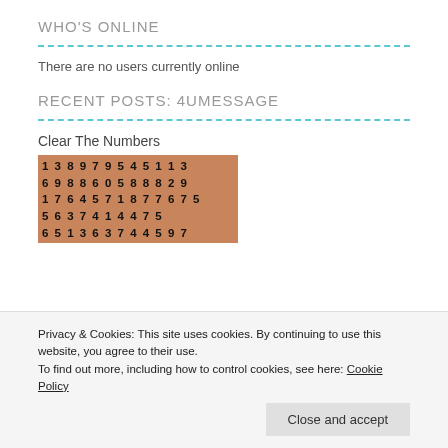WHO'S ONLINE
There are no users currently online
RECENT POSTS: 4UMESSAGE
Clear The Numbers
[Figure (photo): Image of a number puzzle board with rows of numbers 1-9 in brown/orange tiles]
Privacy & Cookies: This site uses cookies. By continuing to use this website, you agree to their use. To find out more, including how to control cookies, see here: Cookie Policy
where you get 3 of the same number and they are